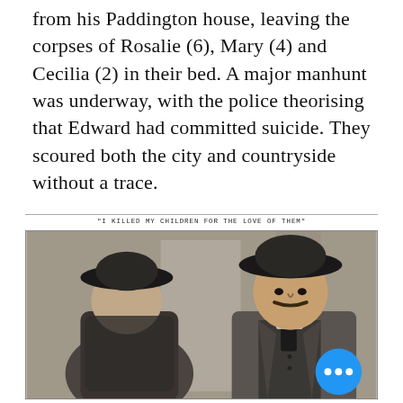from his Paddington house, leaving the corpses of Rosalie (6), Mary (4) and Cecilia (2) in their bed. A major manhunt was underway, with the police theorising that Edward had committed suicide. They scoured both the city and countryside without a trace.
"I KILLED MY CHILDREN FOR THE LOVE OF THEM"
[Figure (photo): Black and white newspaper photograph showing two men wearing hats and suits. The man on the right faces forward with a mustache; the man on the left is turned away. A blue circular button with three dots overlays the bottom right of the image.]